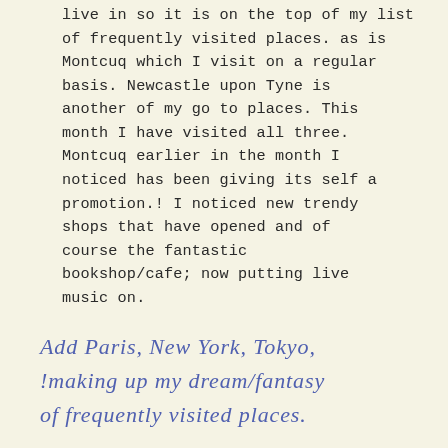live in so it is on the top of my list of frequently visited places. as is Montcuq which I visit on a regular basis. Newcastle upon Tyne is another of my go to places. This month I have visited all three. Montcuq earlier in the month I noticed has been giving its self a promotion.! I noticed new trendy shops that have opened and of course the fantastic bookshop/cafe; now putting live music on.
Add Paris, New York, Tokyo, !making up my dream/fantasy of frequently visited places.